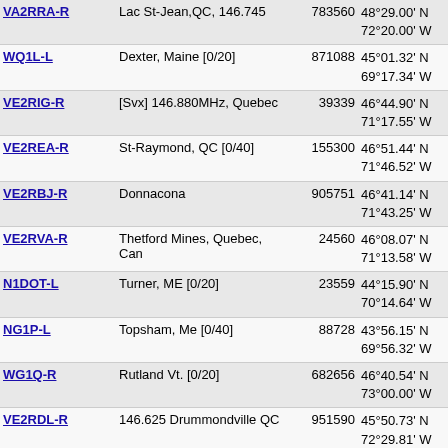| Callsign | Location | ID | Coordinates | Grid | Dist |
| --- | --- | --- | --- | --- | --- |
| VA2RRA-R | Lac St-Jean,QC, 146.745 | 783560 | 48°29.00' N 72°20.00' W | FN38ul | 3023 |
| WQ1L-L | Dexter, Maine [0/20] | 871088 | 45°01.32' N 69°17.34' W | FN55ia | 3039 |
| VE2RIG-R | [Svx] 146.880MHz, Quebec | 39339 | 46°44.90' N 71°17.55' W | FN46ir | 3050 |
| VE2REA-R | St-Raymond, QC [0/40] | 155300 | 46°51.44' N 71°46.52' W | FN46cu | 3064 |
| VE2RBJ-R | Donnacona | 905751 | 46°41.14' N 71°43.25' W | FN46dq | 3069 |
| VE2RVA-R | Thetford Mines, Quebec, Can | 24560 | 46°08.07' N 71°13.58' W | FN46jd | 3072 |
| N1DOT-L | Turner, ME [0/20] | 23559 | 44°15.90' N 70°14.64' W | FN44vg | 3108 |
| NG1P-L | Topsham, Me [0/40] | 88728 | 43°56.15' N 69°56.32' W | FN53aw | 3109 |
| WG1Q-R | Rutland Vt. [0/20] | 682656 | 46°40.54' N 73°00.00' W | FN36mq | 3119 |
| VE2RDL-R | 146.625 Drummondville QC | 951590 | 45°50.73' N 72°29.81' W | FN35su | 3133 |
| VE2RKL-R | Reseaux de RAQI [1/20] | 550678 | 47°00.00' N 74°00.00' W | FN37aa | 3145 |
| VE2CWQ-R | Réseau CanWarn-Québec [0/20 | 530006 | 45°21.81' N 72°37.56' W | FN35qi | 3158 |
| KC1ETT-L | Wells Beach, ME [0/20] | 759461 | 43°18.06' N | FN43rh | 3161 |